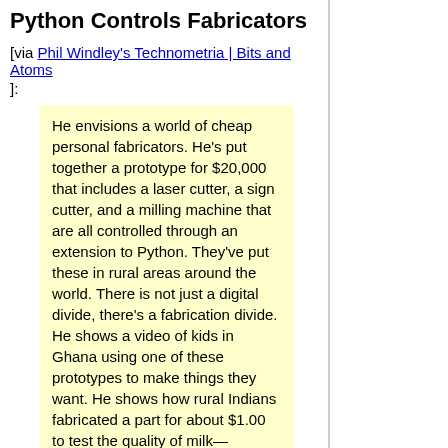Python Controls Fabricators
[via Phil Windley's Technometria | Bits and Atoms
]:
He envisions a world of cheap personal fabricators. He's put together a prototype for $20,000 that includes a laser cutter, a sign cutter, and a milling machine that are all controlled through an extension to Python. They've put these in rural areas around the world. There is not just a digital divide, there's a fabrication divide. He shows a video of kids in Ghana using one of these prototypes to make things they want. He shows how rural Indians fabricated a part for about $1.00 to test the quality of milk—something that's very important to them. Local computers and technology for local needs.
Another step on the path to world domination?
[00:03] | [computers/programming/python] | # | TB | F | G | 1 Comments |
Fri, 21 Jan 2005